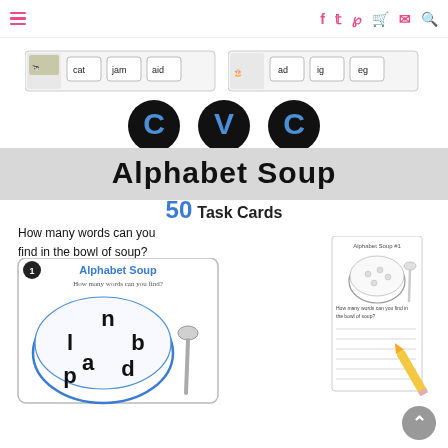Navigation bar with hamburger menu and social/cart icons
[Figure (illustration): Two word card strips showing CVC word cards with animal images and words like 'cat', 'jam', 'aid']
[Figure (illustration): CVC logo with large blue letters C V C on black circular backgrounds]
Alphabet Soup
50 Task Cards
How many words can you
find in the bowl of soup?
[Figure (illustration): Task card showing 'Alphabet Soup' with a bowl containing letters n, l, b, a, d, p and a spoon]
[Figure (illustration): Recording sheet for Alphabet Soup with a bowl outline, spoon, lines for writing words, and a pencil]